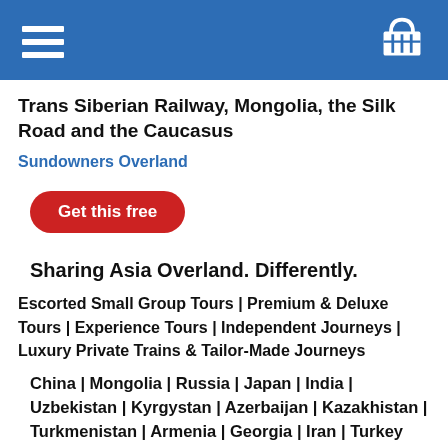Header bar with hamburger menu and basket icon
Trans Siberian Railway, Mongolia, the Silk Road and the Caucasus
Sundowners Overland
Get this free
Sharing Asia Overland. Differently.
Escorted Small Group Tours | Premium & Deluxe Tours | Experience Tours | Independent Journeys | Luxury Private Trains & Tailor-Made Journeys
China | Mongolia | Russia | Japan | India | Uzbekistan | Kyrgystan | Azerbaijan | Kazakhistan | Turkmenistan | Armenia | Georgia | Iran | Turkey